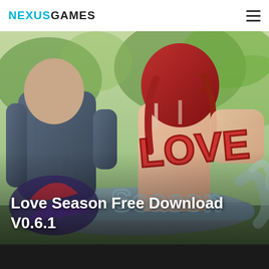NEXUSGAMES
[Figure (illustration): Hero banner image for 'Love Season' game: two 3D rendered characters embracing outdoors, with game logo text 'LOVE SEASON' overlaid in stylized lettering. Background shows green foliage. Scene is a visual novel / dating sim game cover art.]
Love Season Free Download V0.6.1